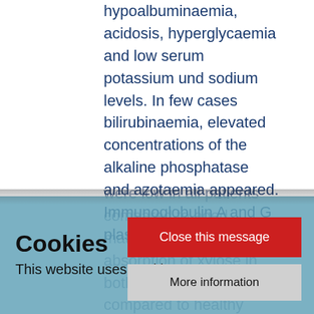hypoalbuminaemia, acidosis, hyperglycaemia and low serum potassium und sodium levels. In few cases bilirubinaemia, elevated concentrations of the alkaline phosphatase and azotaemia appeared. Immunoglobulin A and G plasma concentrations were low in all patients compared to aged matched controls. The absorption of xylose in both groups compared to healthy controls, when tested on the fifth day of the
Cookies
This website uses cookies.
Close this message
More information